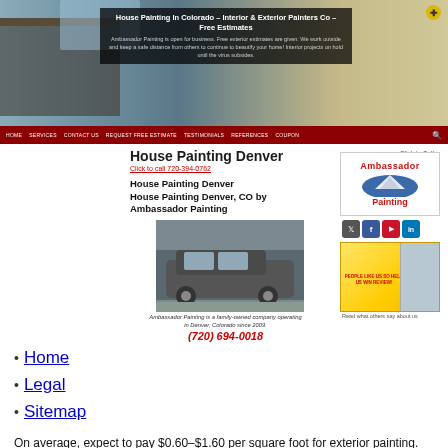[Figure (screenshot): Hero banner showing a house exterior photo with a dark overlay text box]
House Painting In Colorado – Interior & Exterior Painters Co – Free Estimates
Ambassador Painting is open for business. Free exterior estimates are given. We work outside and keep a safe distance from others to continue to beautify your home! Interior projects on hold until the virus subsides.
HOME  SERVICES  CONTACT US  REQUEST FREE ESTIMATE  TESTIMONIALS  REFERENCES  COUPON
House Painting Denver
Click to call 720-394-0762
House Painting Denver
House Painting Denver, CO by Ambassador Painting
[Figure (photo): Photo of a grey SUV with Ambassador Painting branding]
Ambassador Painting is a family-owned company operating in Denver, Colorado since 2009.
(720) 694-0018
[Figure (logo): Ambassador Painting logo with mountain graphic]
[Figure (infographic): Social media icons: Twitter, Facebook, YouTube, LinkedIn]
[Figure (infographic): People Like Us So Help advertisement banner]
Read what others say about us
Click to Call
Home
Legal
Sitemap
On average, expect to pay $0.60–$1.60 per square foot for exterior painting. The average for painting labor across the country is $30–$40 per hour before you pay for paint, painting supplies, location costs, and equipment. To get a very general estimate, though, painting contractors...